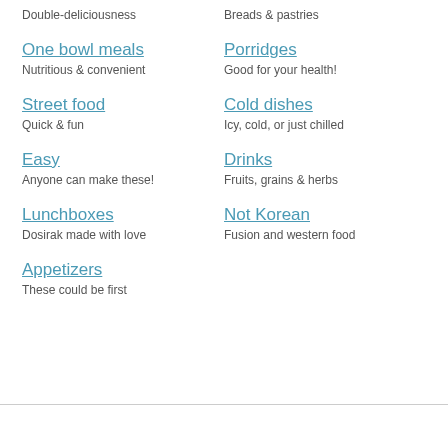Double-deliciousness
Breads & pastries
One bowl meals
Nutritious & convenient
Porridges
Good for your health!
Street food
Quick & fun
Cold dishes
Icy, cold, or just chilled
Easy
Anyone can make these!
Drinks
Fruits, grains & herbs
Lunchboxes
Dosirak made with love
Not Korean
Fusion and western food
Appetizers
These could be first